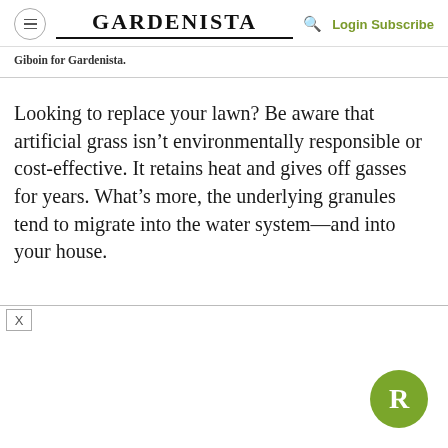GARDENISTA  Login Subscribe
Giboin for Gardenista.
Looking to replace your lawn? Be aware that artificial grass isn’t environmentally responsible or cost-effective. It retains heat and gives off gasses for years. What’s more, the underlying granules tend to migrate into the water system—and into your house.